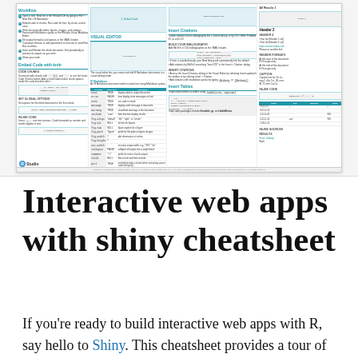[Figure (screenshot): Screenshot of an RStudio R Markdown cheatsheet showing sections: Workflow, Embed Code with knitr, Visual Editor, Insert Citations, Insert Tables, and a data table on the right. The cheatsheet has multiple columns with blue section headers, code chunks, bullet points, and the RStudio logo at the bottom left.]
Interactive web apps with shiny cheatsheet
If you're ready to build interactive web apps with R, say hello to Shiny. This cheatsheet provides a tour of the